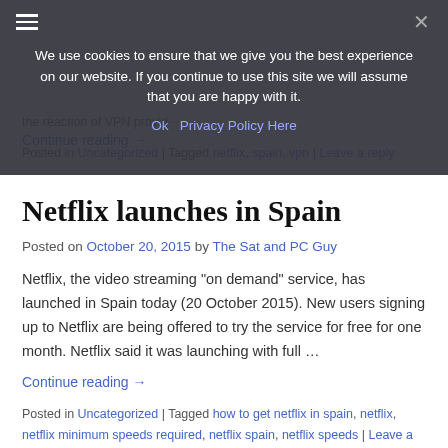[Figure (screenshot): Cookie consent banner overlay with dark semi-transparent background. Text reads 'We use cookies to ensure that we give you the best experience on our website. If you continue to use this site we will assume that you are happy with it.' with 'Ok' and 'Privacy Policy Here' links and a close X button. Hamburger menu icon visible at top left.]
the reaction of VPN provid... Continue reading →
Posted in Uncategorized | Tagged netflix, spain, vpn | Leave a reply
Netflix launches in Spain
Posted on October 20, 2015 by The Sat and PC Guy
Netflix, the video streaming "on demand" service, has launched in Spain today (20 October 2015). New users signing up to Netflix are being offered to try the service for free for one month. Netflix said it was launching with full ...
Continue reading →
Posted in Uncategorized | Tagged how to get netflix in spain, netflix, netflix minimum speeds required, netflix spain, netflix speeds | Leave a reply